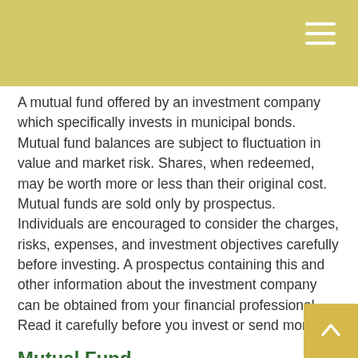A mutual fund offered by an investment company which specifically invests in municipal bonds. Mutual fund balances are subject to fluctuation in value and market risk. Shares, when redeemed, may be worth more or less than their original cost. Mutual funds are sold only by prospectus. Individuals are encouraged to consider the charges, risks, expenses, and investment objectives carefully before investing. A prospectus containing this and other information about the investment company can be obtained from your financial professional. Read it carefully before you invest or send money.
Mutual Fund
A pooled investment account offered by an investment company. Mutual funds pool the monies of many investors and then invest the money to pursue the